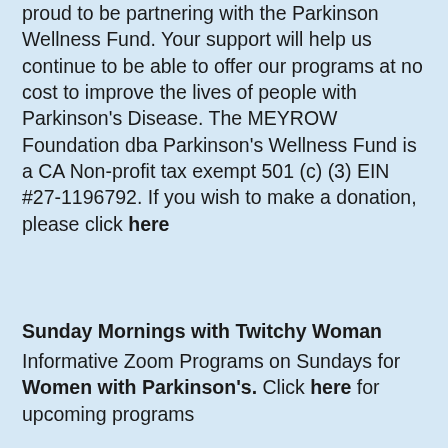proud to be partnering with the Parkinson Wellness Fund. Your support will help us continue to be able to offer our programs at no cost to improve the lives of people with Parkinson's Disease. The MEYROW Foundation dba Parkinson's Wellness Fund is a CA Non-profit tax exempt 501 (c) (3) EIN #27-1196792. If you wish to make a donation, please click here
Sunday Mornings with Twitchy Woman
Informative Zoom Programs on Sundays for Women with Parkinson's. Click here for upcoming programs